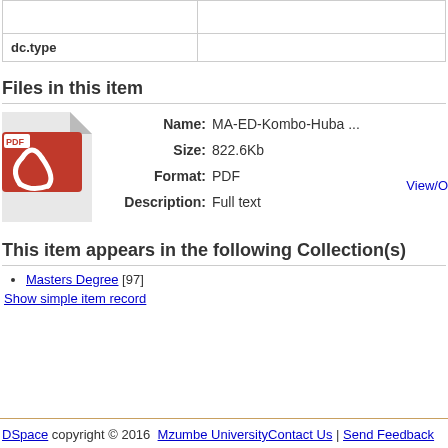| dc.type |  |
| --- | --- |
| dc.type |  |
Files in this item
[Figure (illustration): PDF file icon — red Adobe PDF logo on a grey folded-corner document background]
Name: MA-ED-Kombo-Huba ...
Size: 822.6Kb
Format: PDF
Description: Full text
View/O
This item appears in the following Collection(s)
Masters Degree [97]
Show simple item record
DSpace copyright © 2016  Mzumbe University Contact Us | Send Feedback